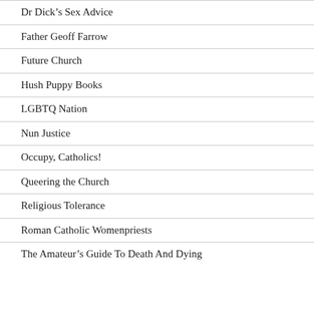Dr Dick's Sex Advice
Father Geoff Farrow
Future Church
Hush Puppy Books
LGBTQ Nation
Nun Justice
Occupy, Catholics!
Queering the Church
Religious Tolerance
Roman Catholic Womenpriests
The Amateur's Guide To Death And Dying